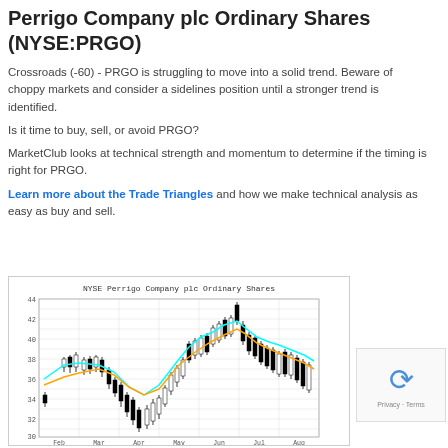Perrigo Company plc Ordinary Shares (NYSE:PRGO)
Crossroads (-60) - PRGO is struggling to move into a solid trend. Beware of choppy markets and consider a sidelines position until a stronger trend is identified.
Is it time to buy, sell, or avoid PRGO?
MarketClub looks at technical strength and momentum to determine if the timing is right for PRGO.
Learn more about the Trade Triangles and how we make technical analysis as easy as buy and sell.
[Figure (continuous-plot): Candlestick chart titled 'NYSE Perrigo Company plc Ordinary Shares' showing price from approximately Feb to Sep on y-axis range 30-44, with cyan and orange moving average lines overlaid on candlestick price bars.]